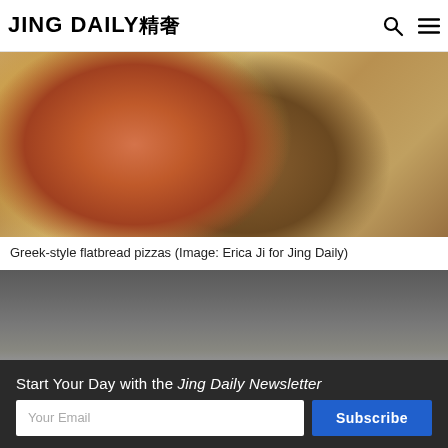JING DAILY 精奢
[Figure (photo): Greek-style flatbread pizzas on a wooden board, showing tomato sauce, cheese, and toppings]
Greek-style flatbread pizzas (Image: Erica Ji for Jing Daily)
[Figure (photo): Dark grey/brown surface, partial image of second food item]
Start Your Day with the Jing Daily Newsletter